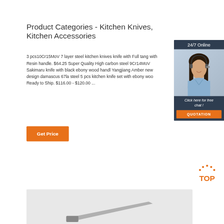Product Categories - Kitchen Knives, Kitchen Accessories
3 pcs10Cr15MoV 7 layer steel kitchen knives knife with Full tang with Resin handle. $64.25 Super Quality High carbon steel 9Cr14MoV Sakimaru knife with black ebony wood handl Yangjiang Amber new design damascus 67la steel 5 pcs kitchen knife set with ebony woo Ready to Ship. $116.00 - $120.00 ...
Get Price
[Figure (photo): Chat widget showing a woman wearing a headset, with '24/7 Online' header, 'Click here for free chat!' text and an orange QUOTATION button]
[Figure (logo): Orange TOP button with dot pattern above the letters]
[Figure (photo): Bottom image strip showing partial view of kitchen knives]